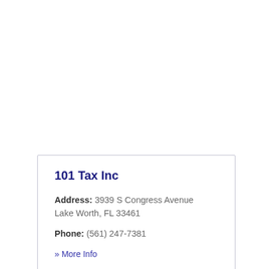101 Tax Inc
Address: 3939 S Congress Avenue Lake Worth, FL 33461
Phone: (561) 247-7381
» More Info